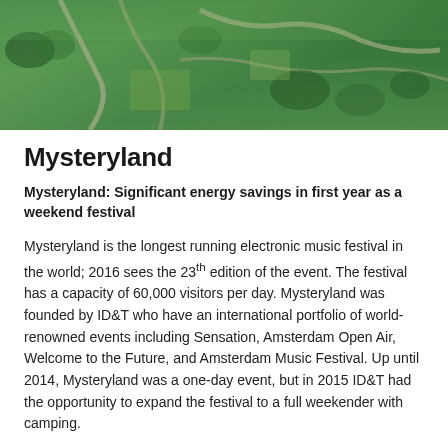[Figure (photo): Aerial view of green landscape with roads, highways, trees and fields photographed from above]
Mysteryland
Mysteryland: Significant energy savings in first year as a weekend festival
Mysteryland is the longest running electronic music festival in the world; 2016 sees the 23th edition of the event. The festival has a capacity of 60,000 visitors per day. Mysteryland was founded by ID&T who have an international portfolio of world-renowned events including Sensation, Amsterdam Open Air, Welcome to the Future, and Amsterdam Music Festival. Up until 2014, Mysteryland was a one-day event, but in 2015 ID&T had the opportunity to expand the festival to a full weekender with camping.